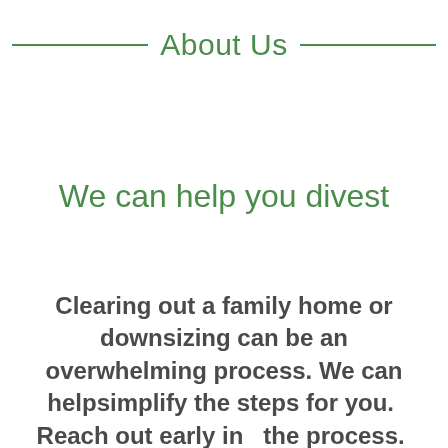About Us
We can help you divest
Clearing out a family home or downsizing can be an overwhelming process. We can helpsimplify the steps for you.  Reach out early in   the process.  We can advise on the best course of action for